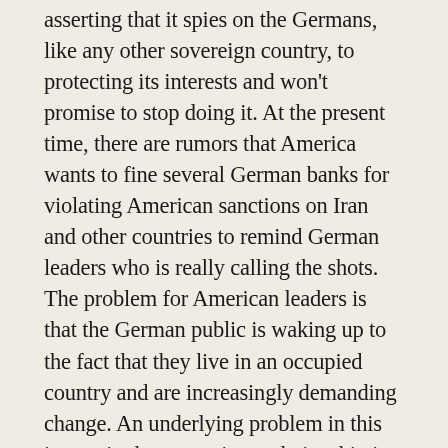asserting that it spies on the Germans, like any other sovereign country, to protecting its interests and won't promise to stop doing it. At the present time, there are rumors that America wants to fine several German banks for violating American sanctions on Iran and other countries to remind German leaders who is really calling the shots. The problem for American leaders is that the German public is waking up to the fact that they live in an occupied country and are increasingly demanding change. An underlying problem in this increasingly contentious relationship is the belief by many American leaders that Germany is warming to the idea of a Berlin-Moscow-Beijing economic partnership which